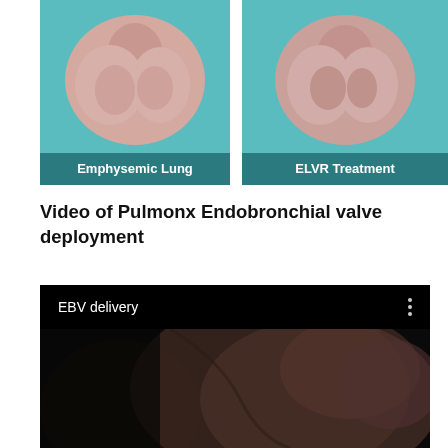[Figure (illustration): Two side-by-side medical illustrations showing 'Emphysemic Lung' (left) and 'ELVR Treatment' (right) — teal/cyan background with anatomical lung visuals and labeled captions in a dark teal banner.]
Video of Pulmonx Endobronchial valve deployment
[Figure (screenshot): Screenshot of a video player showing 'EBV delivery' title in white text on black background, with a three-dot menu icon in the top right, and a dark endoscopic video frame below.]